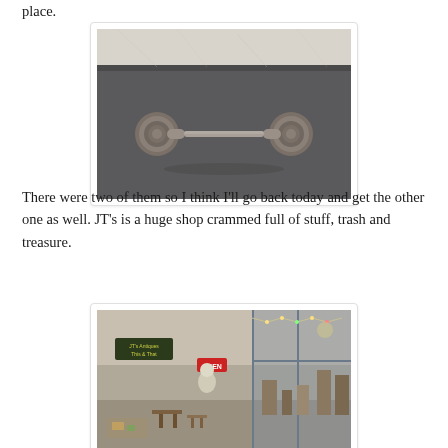place.
[Figure (photo): Close-up photo of a bronze/oil-rubbed double-post towel bar or cabinet bar pull mounted against a light granite surface, with a dark background.]
There were two of them so I think I'll go back today and get the other one as well. JT's is a huge shop crammed full of stuff, trash and treasure.
[Figure (photo): Interior photo of a large antique/thrift shop storefront with an OPEN sign, crowded with furniture, decorations, mannequins, and miscellaneous items both inside and outside the store entrance.]